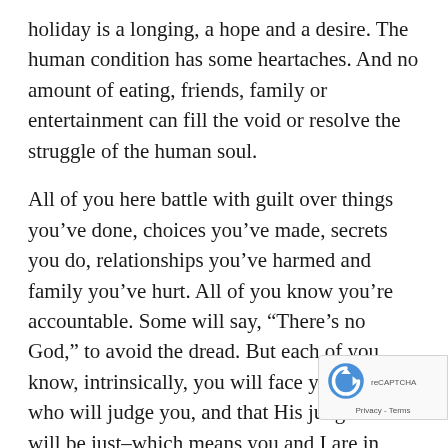holiday is a longing, a hope and a desire. The human condition has some heartaches. And no amount of eating, friends, family or entertainment can fill the void or resolve the struggle of the human soul.
All of you here battle with guilt over things you've done, choices you've made, secrets you do, relationships you've harmed and family you've hurt. All of you know you're accountable. Some will say, “There's no God,” to avoid the dread. But each of you know, intrinsically, you will face your creator who will judge you, and that His judgment will be just–which means you and I are in trouble.
There is definitely something wrong. The things you have wanted for so long–when you finally get them, they never satisfy. This time of year offers the perfect example. You want that game, that toy, that present and you finally get it. And it isn’t what you hoped. But it didn’t bring perfect satisfaction.